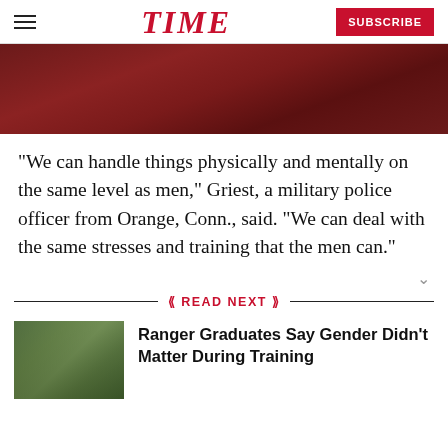TIME | SUBSCRIBE
[Figure (photo): Dark reddish-brown background image, partially visible at top of page]
“We can handle things physically and mentally on the same level as men,” Griest, a military police officer from Orange, Conn., said. “We can deal with the same stresses and training that the men can.”
READ NEXT
[Figure (photo): Thumbnail photo of military rangers in training, wearing camouflage gear]
Ranger Graduates Say Gender Didn't Matter During Training